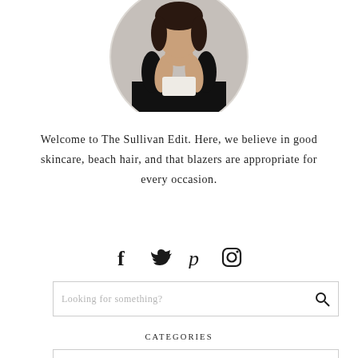[Figure (photo): Circular cropped profile photo of a woman in a black lace dress holding a white clutch, photographed against a grey background. Only the upper portion of the circle is visible at the top of the page.]
Welcome to The Sullivan Edit. Here, we believe in good skincare, beach hair, and that blazers are appropriate for every occasion.
[Figure (infographic): Social media icons row: Facebook (f), Twitter (bird), Pinterest (p), Instagram (camera)]
Looking for something?
CATEGORIES
BEAUTY